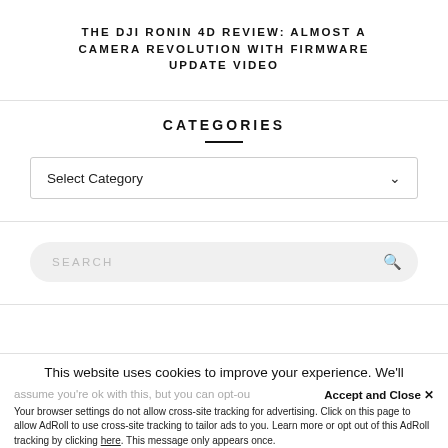THE DJI RONIN 4D REVIEW: ALMOST A CAMERA REVOLUTION WITH FIRMWARE UPDATE VIDEO
CATEGORIES
Select Category
SEARCH
This website uses cookies to improve your experience. We'll assume you're ok with this, but you can opt-out
Accept and Close ✕
Your browser settings do not allow cross-site tracking for advertising. Click on this page to allow AdRoll to use cross-site tracking to tailor ads to you. Learn more or opt out of this AdRoll tracking by clicking here. This message only appears once.